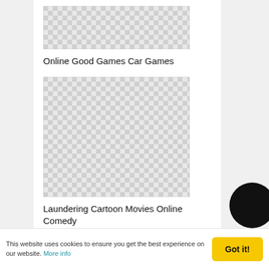[Figure (illustration): Checkerboard placeholder image for Online Good Games Car Games]
Online Good Games Car Games
[Figure (illustration): Checkerboard placeholder image for Laundering Cartoon Movies Online Comedy]
Laundering Cartoon Movies Online Comedy
This website uses cookies to ensure you get the best experience on our website. More info